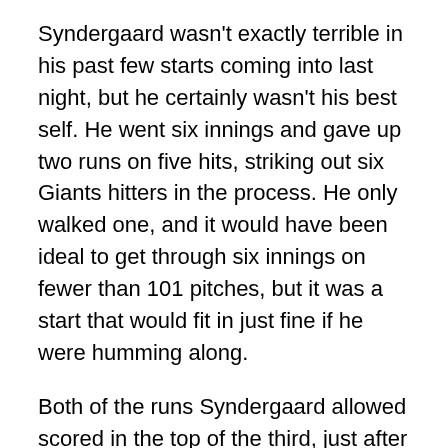Syndergaard wasn't exactly terrible in his past few starts coming into last night, but he certainly wasn't his best self. He went six innings and gave up two runs on five hits, striking out six Giants hitters in the process. He only walked one, and it would have been ideal to get through six innings on fewer than 101 pitches, but it was a start that would fit in just fine if he were humming along.
Both of the runs Syndergaard allowed scored in the top of the third, just after the Mets had gotten off to a 3-0 lead in the bottom of the second. Dominic Smith, who actually got to start at his natural position of first base, started things off with a no-doubt home run. Jeff McNeil singled in a run, and Todd Frazier's ground rule double scored the third. If not for that ball bouncing just